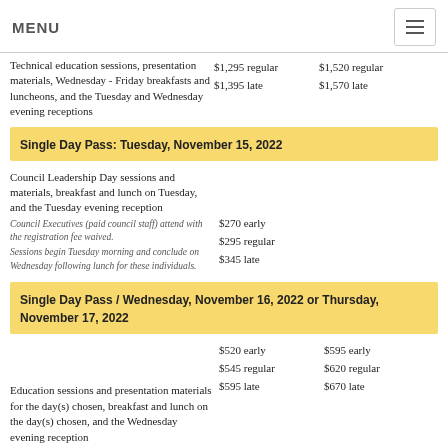MENU
Technical education sessions, presentation materials, Wednesday - Friday breakfasts and luncheons, and the Tuesday and Wednesday evening receptions	$1,295 regular $1,395 late	$1,520 regular $1,570 late
Single Day Pass: Tuesday, November 15, 2022
Council Leadership Day sessions and materials, breakfast and lunch on Tuesday, and the Tuesday evening reception	$270 early $295 regular $345 late
Council Executives (paid council staff) attend with the registration fee waived.
Sessions begin Tuesday morning and conclude on Wednesday following lunch for these individuals.
Single Day Pass / Wednesday, November 16, 2022 or Thursday, November 17, 2022
Education sessions and presentation materials for the day(s) chosen, breakfast and lunch on the day(s) chosen, and the Wednesday evening reception	$520 early $545 regular $595 late	$595 early $620 regular $670 late